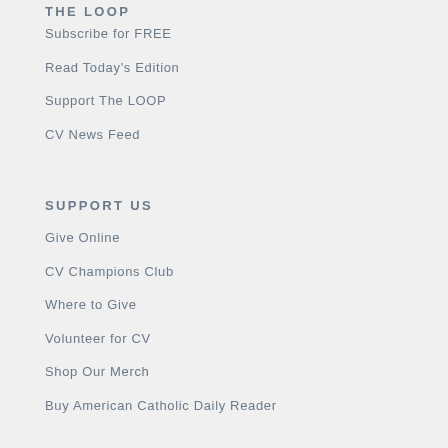THE LOOP
Subscribe for FREE
Read Today's Edition
Support The LOOP
CV News Feed
SUPPORT US
Give Online
CV Champions Club
Where to Give
Volunteer for CV
Shop Our Merch
Buy American Catholic Daily Reader